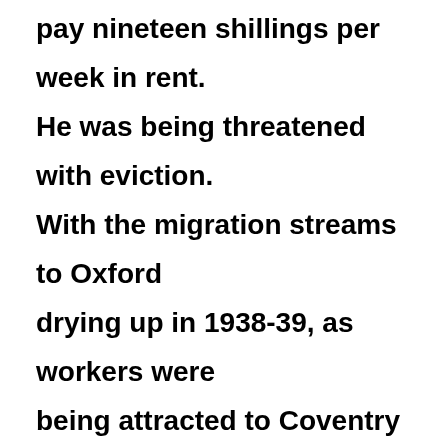pay nineteen shillings per week in rent. He was being threatened with eviction. With the migration streams to Oxford drying up in 1938-39, as workers were being attracted to Coventry and elsewhere, the local Labour Party campaigned for greater security for migrant workers and their families in terms of their housing needs as well as in employment.